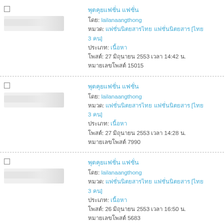Row 1: Thai forum post by lailanaangthong, dated 27 [Thai month] 2553 14:42, ID 15015
Row 2: Thai forum post by lailanaangthong, dated 27 [Thai month] 2553 14:28, ID 7990
Row 3: Thai forum post by lailanaangthong, dated 26 [Thai month] 2553 16:50, ID 5683
Row 4: partial